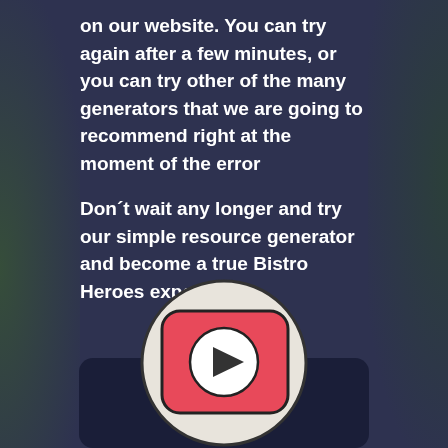on our website. You can try again after a few minutes, or you can try other of the many generators that we are going to recommend right at the moment of the error
Don´t wait any longer and try our simple resource generator and become a true Bistro Heroes expert!
[Figure (illustration): A circular play button icon with a light grey/cream background circle, containing a red rounded-rectangle with a white play triangle in the center, styled as a video play button. Below the circle is a dark rounded rectangle suggesting a video player interface.]